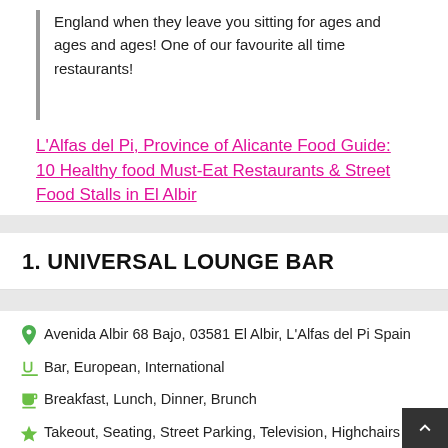England when they leave you sitting for ages and ages and ages! One of our favourite all time restaurants!
L'Alfas del Pi, Province of Alicante Food Guide: 10 Healthy food Must-Eat Restaurants & Street Food Stalls in El Albir
1. UNIVERSAL LOUNGE BAR
Avenida Albir 68 Bajo, 03581 El Albir, L'Alfas del Pi Spain
Bar, European, International
Breakfast, Lunch, Dinner, Brunch
Takeout, Seating, Street Parking, Television, Highchairs Available, Wheelchair Accessible, Serves Alcohol, Full Bar, Wine and Beer, Accepts American